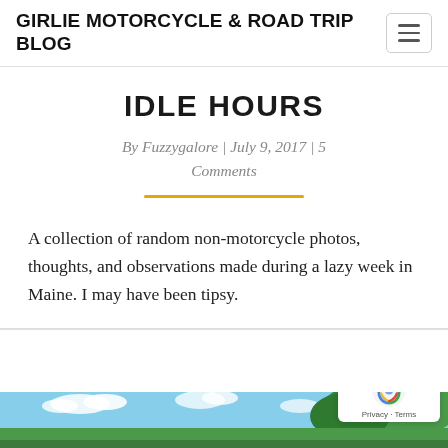GIRLIE MOTORCYCLE & ROAD TRIP BLOG
IDLE HOURS
By Fuzzygalore | July 9, 2017 | 5 Comments
A collection of random non-motorcycle photos, thoughts, and observations made during a lazy week in Maine. I may have been tipsy.
[Figure (photo): Partial view of outdoor scene with blue sky and green trees at the bottom of the page]